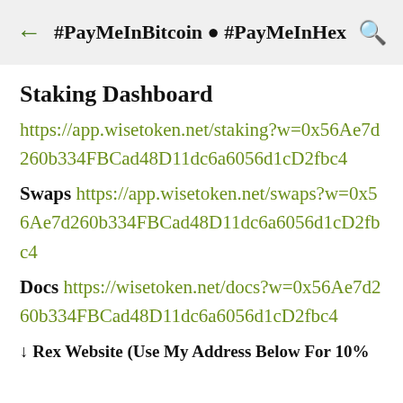#PayMeInBitcoin ● #PayMeInHex
Staking Dashboard
https://app.wisetoken.net/staking?w=0x56Ae7d260b334FBCad48D11dc6a6056d1cD2fbc4
Swaps https://app.wisetoken.net/swaps?w=0x56Ae7d260b334FBCad48D11dc6a6056d1cD2fbc4
Docs https://wisetoken.net/docs?w=0x56Ae7d260b334FBCad48D11dc6a6056d1cD2fbc4
↓Rex Website (Use My Address Below For 10%